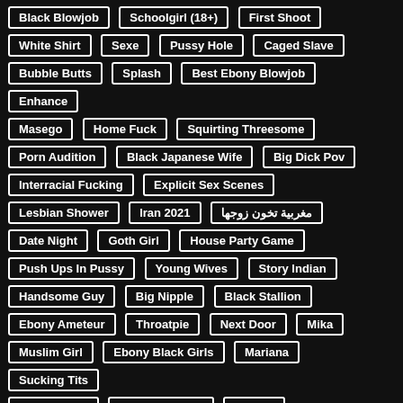Black Blowjob
Schoolgirl (18+)
First Shoot
White Shirt
Sexe
Pussy Hole
Caged Slave
Bubble Butts
Splash
Best Ebony Blowjob
Enhance
Masego
Home Fuck
Squirting Threesome
Porn Audition
Black Japanese Wife
Big Dick Pov
Interracial Fucking
Explicit Sex Scenes
Lesbian Shower
Iran 2021
مغربية تخون زوجها
Date Night
Goth Girl
House Party Game
Push Ups In Pussy
Young Wives
Story Indian
Handsome Guy
Big Nipple
Black Stallion
Ebony Ameteur
Throatpie
Next Door
Mika
Muslim Girl
Ebony Black Girls
Mariana
Sucking Tits
Queen Gana
Anal First Time
Veneca
Egypt Arab Anal
Thick African Ass
Latina Riding
Hot Rough Pounding
Dvp
Cheating Wife Scene